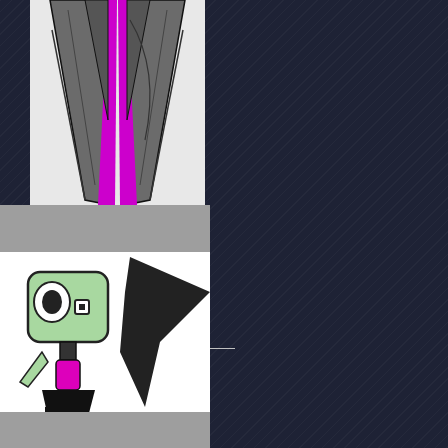[Figure (illustration): Partial view of a cartoon character wearing a dark grey coat with bright magenta/purple inner lining, drawn in a comic style. Only the torso area is visible.]
devilartist
Invader Jhonen
[Figure (illustration): Cartoon illustration of GIR from Invader Zim, a small robot with a light green head and black body holding a pink/magenta cylinder, with a large black wing or arm extending to the right. White background.]